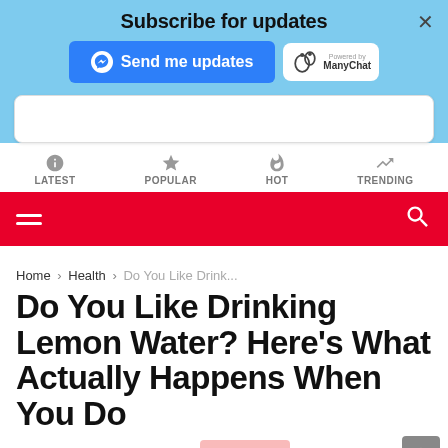Subscribe for updates
[Figure (screenshot): Send me updates button with Messenger icon and ManyChat powered-by badge]
[Figure (screenshot): Navigation icons row: LATEST, POPULAR, HOT, TRENDING]
[Figure (screenshot): Red navigation bar with hamburger menu left and search icon right]
Home › Health › Do You Like Drink...
Do You Like Drinking Lemon Water? Here's What Actually Happens When You Do
by Matthew Aaron